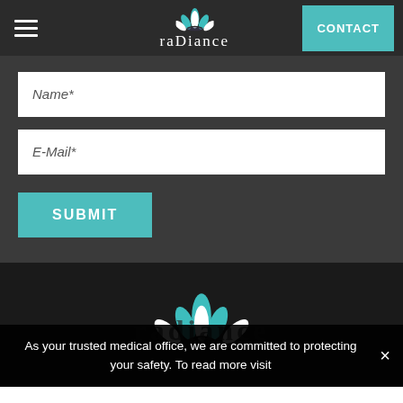radiance — CONTACT
Name*
E-Mail*
SUBMIT
[Figure (logo): Radiance lotus flower logo in teal and white]
As your trusted medical office, we are committed to protecting your safety. To read more visit
Show More